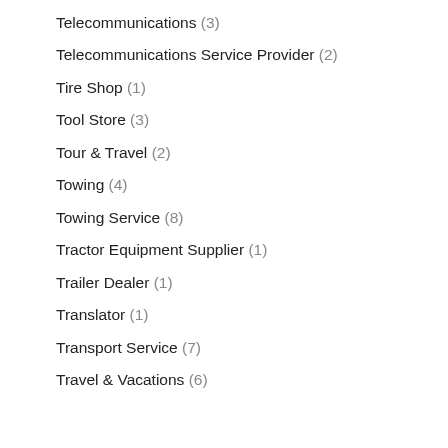Tax Services (3)
Telecommunications (3)
Telecommunications Service Provider (2)
Tire Shop (1)
Tool Store (3)
Tour & Travel (2)
Towing (4)
Towing Service (8)
Tractor Equipment Supplier (1)
Trailer Dealer (1)
Translator (1)
Transport Service (7)
Travel & Vacations (6)